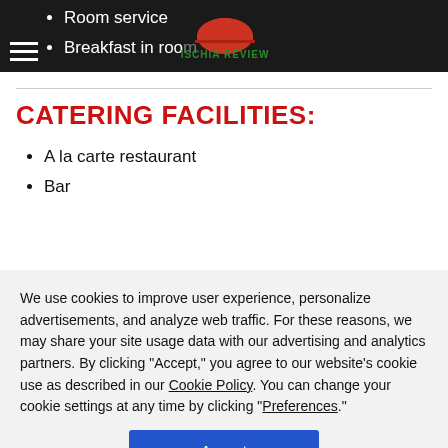Room service • Breakfast in room
[Figure (logo): Ischia Review logo with red dome/igloo illustration and green text ISCHIA REVIEW]
CATERING FACILITIES:
A la carte restaurant
Bar
We use cookies to improve user experience, personalize advertisements, and analyze web traffic. For these reasons, we may share your site usage data with our advertising and analytics partners. By clicking “Accept,” you agree to our website's cookie use as described in our Cookie Policy. You can change your cookie settings at any time by clicking “Preferences.”
Accept